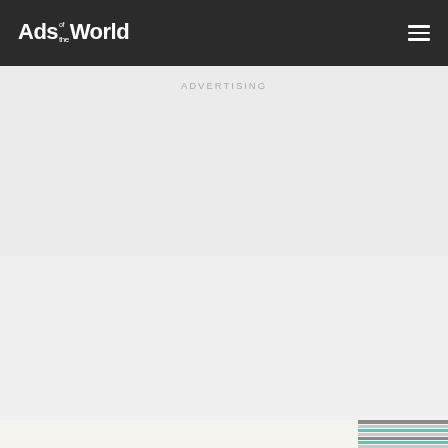Ads of the World
ADVERTISING
Baskin Robbins
Somethings Go Better Together
Agency: Outfront Studios
[Figure (photo): Bottom strip showing partial image of advertisement]